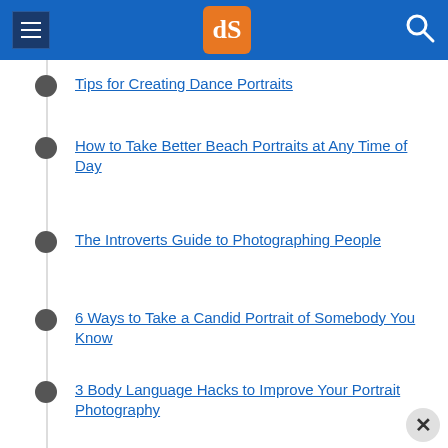dPS navigation header
Tips for Creating Dance Portraits
How to Take Better Beach Portraits at Any Time of Day
The Introverts Guide to Photographing People
6 Ways to Take a Candid Portrait of Somebody You Know
3 Body Language Hacks to Improve Your Portrait Photography
5 More Tips for Making Better Black and White Portraits